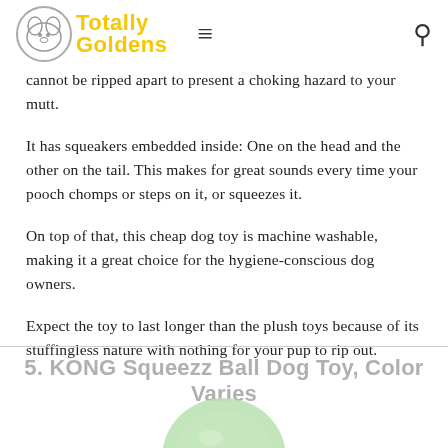Totally Goldens
cannot be ripped apart to present a choking hazard to your mutt.
It has squeakers embedded inside: One on the head and the other on the tail. This makes for great sounds every time your pooch chomps or steps on it, or squeezes it.
On top of that, this cheap dog toy is machine washable, making it a great choice for the hygiene-conscious dog owners.
Expect the toy to last longer than the plush toys because of its stuffingless nature with nothing for your pup to rip out.
5. KONG Squeezz Ball Dog Toy, Color Varies
[Figure (photo): Partial view of a light green KONG Squeezz Ball dog toy at the bottom of the page]